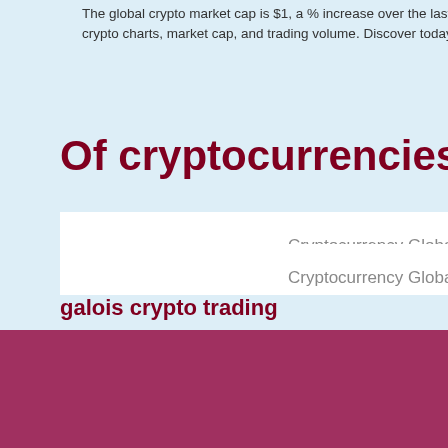The global crypto market cap is $1, a % increase over the last day. crypto charts, market cap, and trading volume. Discover today's ne... market cap)
Of cryptocurrencies ca
[Figure (screenshot): Cryptocurrency Global Charts button/widget - white box with gray text]
[Figure (screenshot): Broken image placeholder with text 'Ma... clini...']
best free bitcoin app
btc u
[Figure (screenshot): Cryptocurrency Global Charts button/widget - white box with gray text]
galois crypto trading
Top 15 Cryptocurr
alexa